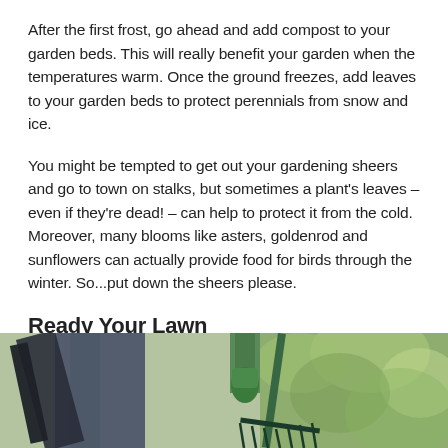After the first frost, go ahead and add compost to your garden beds. This will really benefit your garden when the temperatures warm. Once the ground freezes, add leaves to your garden beds to protect perennials from snow and ice.
You might be tempted to get out your gardening sheers and go to town on stalks, but sometimes a plant's leaves – even if they're dead! – can help to protect it from the cold. Moreover, many blooms like asters, goldenrod and sunflowers can actually provide food for birds through the winter. So...put down the sheers please.
Ready Your Lawn
[Figure (photo): Photo of a person holding a rake outdoors among green trees, partially cropped at bottom of page]